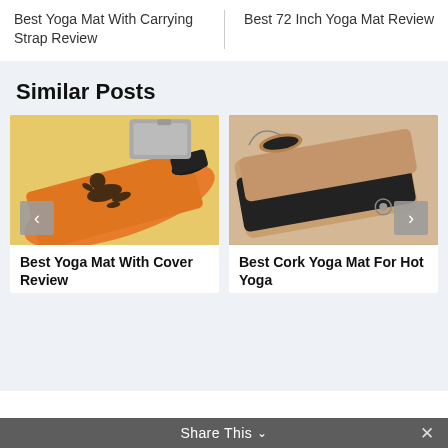Best Yoga Mat With Carrying Strap Review
Best 72 Inch Yoga Mat Review
Similar Posts
[Figure (photo): Rolled orange yoga mat with illustrated dragon/mythological figure and a grey carrying strap/bag, viewed from above]
Best Yoga Mat With Cover Review
[Figure (photo): Cork and black yoga mat partially rolled, with a carrying strap/cord, viewed from above]
Best Cork Yoga Mat For Hot Yoga
Share This